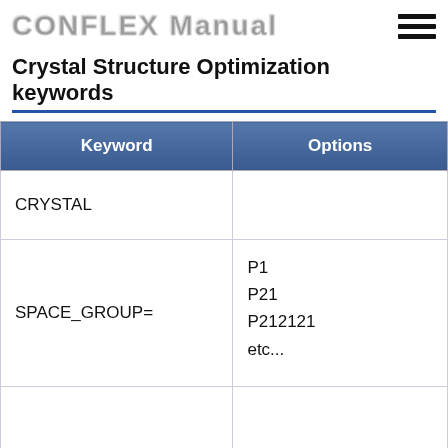CONFLEX Manual
Crystal Structure Optimization keywords
| Keyword | Options |
| --- | --- |
| CRYSTAL |  |
| SPACE_GROUP= | P1
P21
P212121
etc... |
|  | B |